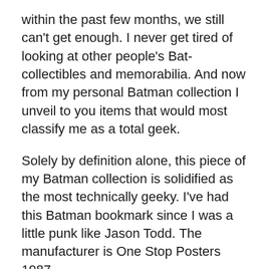within the past few months, we still can't get enough. I never get tired of looking at other people's Bat-collectibles and memorabilia. And now from my personal Batman collection I unveil to you items that would most classify me as a total geek.
Solely by definition alone, this piece of my Batman collection is solidified as the most technically geeky. I've had this Batman bookmark since I was a little punk like Jason Todd. The manufacturer is One Stop Posters 1987.
Here we have 2 sets of bat cuffs which I HAVEN'T used in a sexual manner...YET. I'm always waiting to pull these out of my utility belt along with a latex prophylactic. In this little scenario that's going on in my mind right now I smirk at the